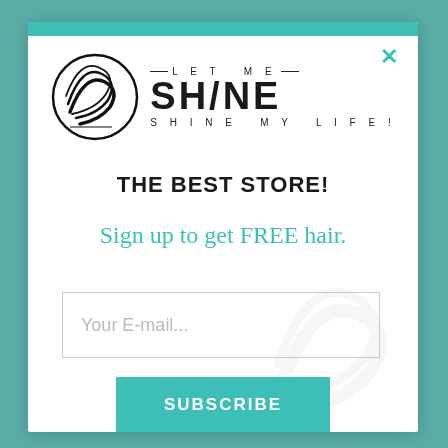[Figure (logo): Let Me Shine – Shine My Life! brand logo with circular swoosh icon and stylized text]
THE BEST STORE!
Sign up to get FREE hair.
Your E-mail...
SUBSCRIBE